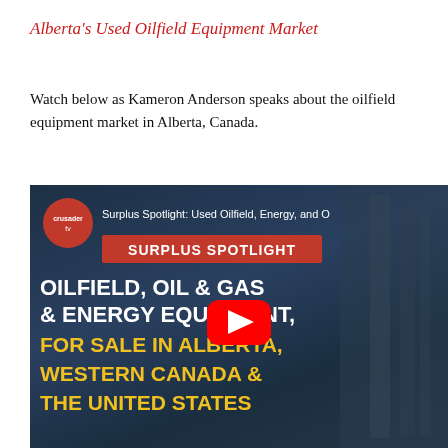Alberta's Used Oilfield Equipment Market
Watch below as Kameron Anderson speaks about the oilfield equipment market in Alberta, Canada.
[Figure (screenshot): YouTube video thumbnail for 'Surplus Spotlight: Used Oilfield, Energy, and O...' showing text overlaid on a dark industrial background. Crusader TV logo in top left circle. Red banner reading 'SURPLUS SPOTLIGHT'. Large white text: 'OILFIELD, OIL & GAS & ENERGY EQUIPMENT,' and gold/yellow text: 'FOR SALE IN ALBERTA, WESTERN CANADA & THE UNITED STATES'. Red YouTube play button in center.]